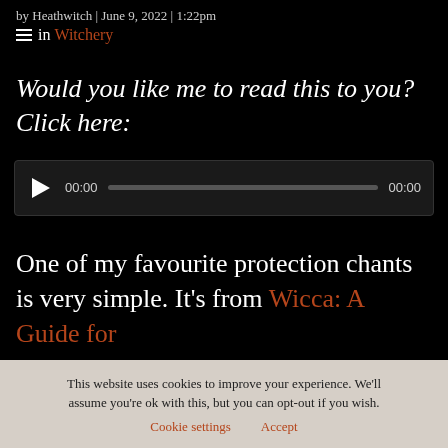by Heathwitch | June 9, 2022 | 1:22pm
in Witchery
Would you like me to read this to you? Click here:
[Figure (other): Audio player widget with play button, time display 00:00, progress bar, and end time 00:00]
One of my favourite protection chants is very simple. It’s from Wicca: A Guide for
This website uses cookies to improve your experience. We'll assume you're ok with this, but you can opt-out if you wish.
Cookie settings   Accept